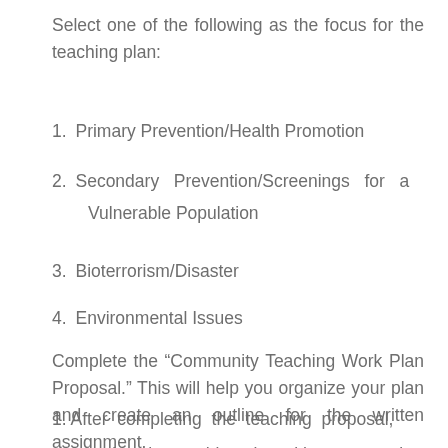Select one of the following as the focus for the teaching plan:
1. Primary Prevention/Health Promotion
2. Secondary Prevention/Screenings for a Vulnerable Population
3. Bioterrorism/Disaster
4. Environmental Issues
Complete the “Community Teaching Work Plan Proposal.” This will help you organize your plan and create an outline for the written assignment.
1. After completing the teaching proposal, review the teaching plan with a community